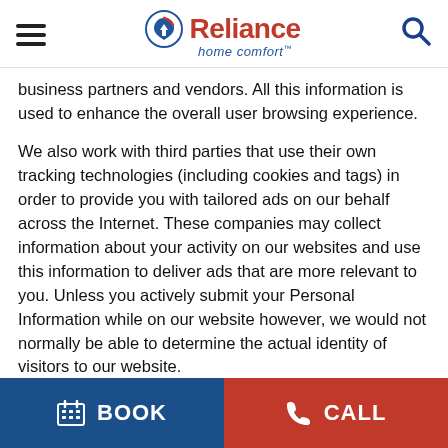[Figure (logo): Reliance home comfort logo with hamburger menu icon and search icon in header]
business partners and vendors. All this information is used to enhance the overall user browsing experience.
We also work with third parties that use their own tracking technologies (including cookies and tags) in order to provide you with tailored ads on our behalf across the Internet. These companies may collect information about your activity on our websites and use this information to deliver ads that are more relevant to you. Unless you actively submit your Personal Information while on our website however, we would not normally be able to determine the actual identity of visitors to our website.
If you are uncomfortable with the use of cookies, you can manage and control them through your browser, including removing cookies by deleting them from your
BOOK  CALL